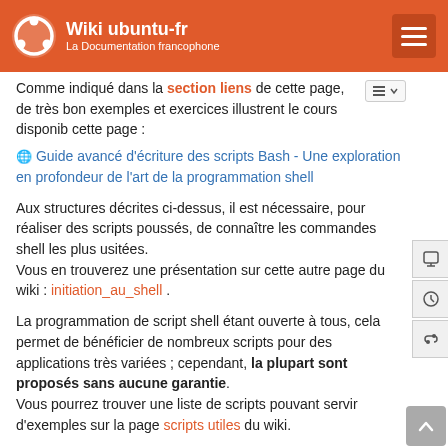Wiki ubuntu-fr — La Documentation francophone
Comme indiqué dans la section liens de cette page, de très bon exemples et exercices illustrent le cours disponib cette page :
🌐 Guide avancé d'écriture des scripts Bash - Une exploration en profondeur de l'art de la programmation shell
Aux structures décrites ci-dessus, il est nécessaire, pour réaliser des scripts poussés, de connaître les commandes shell les plus usitées.
Vous en trouverez une présentation sur cette autre page du wiki : initiation_au_shell .
La programmation de script shell étant ouverte à tous, cela permet de bénéficier de nombreux scripts pour des applications très variées ; cependant, la plupart sont proposés sans aucune garantie.
Vous pourrez trouver une liste de scripts pouvant servir d'exemples sur la page scripts utiles du wiki.
Une fois vos armes faites, proposez vos contributions sur le topic du forum 🌐 [VOS SCRIPTS UTILES] et rajoutez un lien dans la page du wiki ci-dessus.